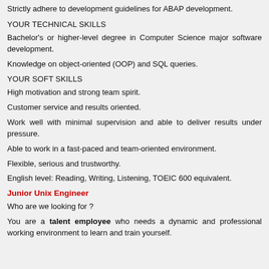Strictly adhere to development guidelines for ABAP development.
YOUR TECHNICAL SKILLS
Bachelor's or higher-level degree in Computer Science major software development.
Knowledge on object-oriented (OOP) and SQL queries.
YOUR SOFT SKILLS
High motivation and strong team spirit.
Customer service and results oriented.
Work well with minimal supervision and able to deliver results under pressure.
Able to work in a fast-paced and team-oriented environment.
Flexible, serious and trustworthy.
English level: Reading, Writing, Listening, TOEIC 600 equivalent.
Junior Unix Engineer
Who are we looking for ?
You are a talent employee who needs a dynamic and professional working environment to learn and train yourself.